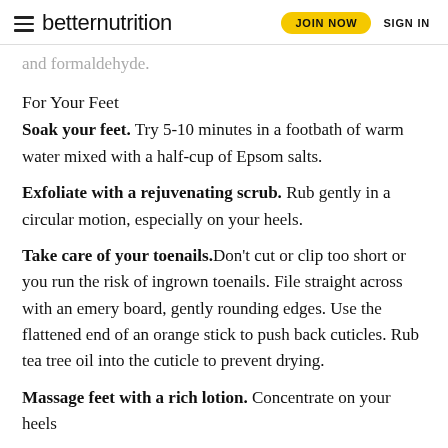betternutrition | JOIN NOW | SIGN IN
and formaldehyde.
For Your Feet
Soak your feet. Try 5-10 minutes in a footbath of warm water mixed with a half-cup of Epsom salts.
Exfoliate with a rejuvenating scrub. Rub gently in a circular motion, especially on your heels.
Take care of your toenails. Don't cut or clip too short or you run the risk of ingrown toenails. File straight across with an emery board, gently rounding edges. Use the flattened end of an orange stick to push back cuticles. Rub tea tree oil into the cuticle to prevent drying.
Massage feet with a rich lotion. Concentrate on your heels